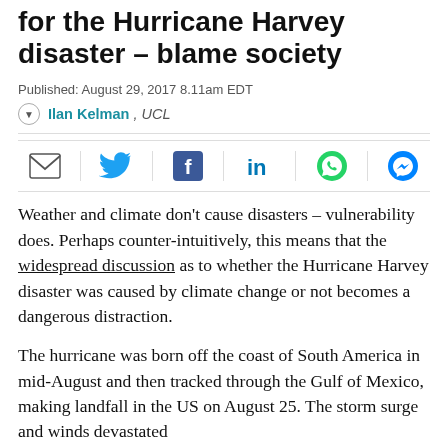for the Hurricane Harvey disaster – blame society
Published: August 29, 2017 8.11am EDT
Ilan Kelman, UCL
[Figure (other): Social sharing icons: email, Twitter, Facebook, LinkedIn, WhatsApp, Messenger]
Weather and climate don't cause disasters – vulnerability does. Perhaps counter-intuitively, this means that the widespread discussion as to whether the Hurricane Harvey disaster was caused by climate change or not becomes a dangerous distraction.
The hurricane was born off the coast of South America in mid-August and then tracked through the Gulf of Mexico, making landfall in the US on August 25. The storm surge and winds devastated